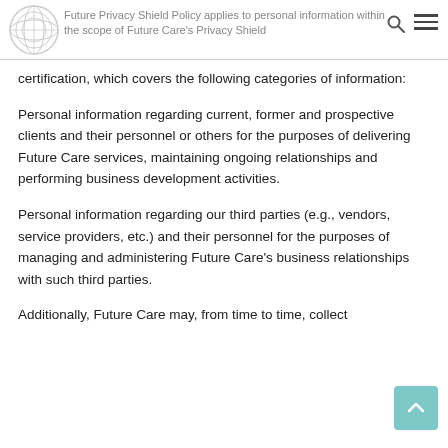Future Privacy Shield Policy applies to personal information within the scope of Future Care's Privacy Shield
certification, which covers the following categories of information:
Personal information regarding current, former and prospective clients and their personnel or others for the purposes of delivering Future Care services, maintaining ongoing relationships and performing business development activities.
Personal information regarding our third parties (e.g., vendors, service providers, etc.) and their personnel for the purposes of managing and administering Future Care's business relationships with such third parties.
Additionally, Future Care may, from time to time, collect